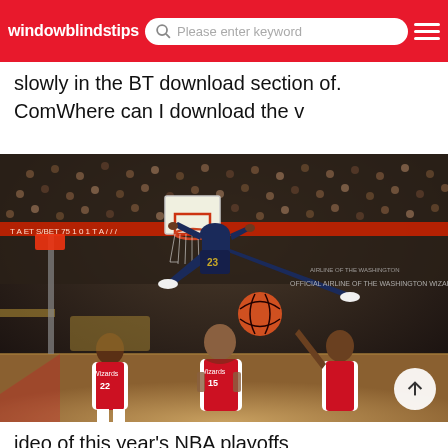windowblindstips  Please enter keyword
slowly in the BT download section of. ComWhere can I download the v
[Figure (photo): NBA basketball player wearing #23 Cleveland Cavaliers jersey dunking the ball and hanging on the rim in an arena, with Washington Wizards players looking on below. Arena crowd visible in background.]
ideo of this year's NBA playoffs
www